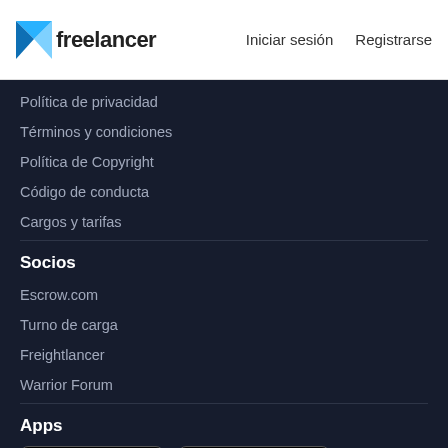Freelancer — Iniciar sesión  Registrarse
Política de privacidad
Términos y condiciones
Política de Copyright
Código de conducta
Cargos y tarifas
Socios
Escrow.com
Turno de carga
Freightlancer
Warrior Forum
Apps
[Figure (logo): Available on the App Store badge]
[Figure (logo): GET IT ON Google Play badge]